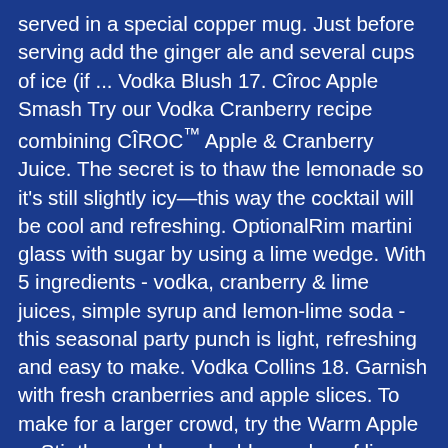served in a special copper mug. Just before serving add the ginger ale and several cups of ice (if ... Vodka Blush 17. Cîroc Apple Smash Try our Vodka Cranberry recipe combining CÎROC™ Apple & Cranberry Juice. The secret is to thaw the lemonade so it's still slightly icy—this way the cocktail will be cool and refreshing. OptionalRim martini glass with sugar by using a lime wedge. With 5 ingredients - vodka, cranberry & lime juices, simple syrup and lemon-lime soda - this seasonal party punch is light, refreshing and easy to make. Vodka Collins 18. Garnish with fresh cranberries and apple slices. To make for a larger crowd, try the Warm Apple ... Stir thoroughly and add a wedge of lime for ... METHOD / Place the apple juice, cranberry juice and vodka in a ... Vodka and Tonic 16. Tully's Nuts & Berries 12. Stir to combine. Vodka and Schweppes 15. Fill a highball glass with ice cubes. Crown & Coke 6. Remove from heat, add GREY GOOSE® Vodka. Love vodka cranberry drinks? Instructions. Goose & Hen 9. It is, quite simply, a mix of apple vodka, peach schnapps, and cranberry juice. Made with apple cider, cranberry juice, ginger beer, and bourbon, this drink comes together in seconds. ... Fill 2 glasses with ice and add equal amounts of the vodka, cranberry juice and sparkling apple juice to